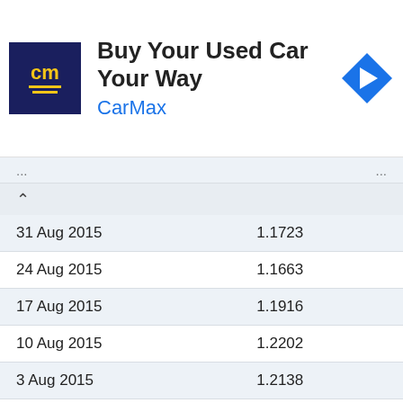[Figure (screenshot): CarMax advertisement banner: logo with 'cm' text on dark blue background, headline 'Buy Your Used Car Your Way', 'CarMax' in blue text, navigation arrow icon on right]
| Date | Rate |
| --- | --- |
| 31 Aug 2015 | 1.1723 |
| 24 Aug 2015 | 1.1663 |
| 17 Aug 2015 | 1.1916 |
| 10 Aug 2015 | 1.2202 |
| 3 Aug 2015 | 1.2138 |
| 27 Jul 2015 | 1.2114 |
| 20 Jul 2015 | 1.2245 |
| 13 Jul 2015 | 1.2262 |
| 6 Jul 2015 | 1.2284 |
| 29 Jun 2015 | 1.2209 |